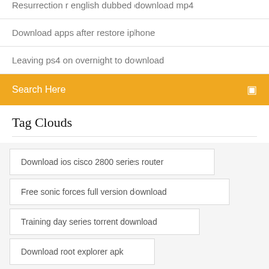Resurrection r english dubbed download mp4
Download apps after restore iphone
Leaving ps4 on overnight to download
Search Here
Tag Clouds
Download ios cisco 2800 series router
Free sonic forces full version download
Training day series torrent download
Download root explorer apk